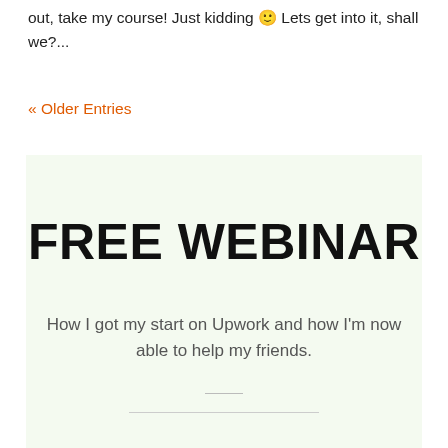out, take my course! Just kidding 🙂 Lets get into it, shall we?...
« Older Entries
[Figure (infographic): Light green background box containing FREE WEBINAR heading and subtitle text about Upwork, with decorative dividers]
FREE WEBINAR
How I got my start on Upwork and how I'm now able to help my friends.